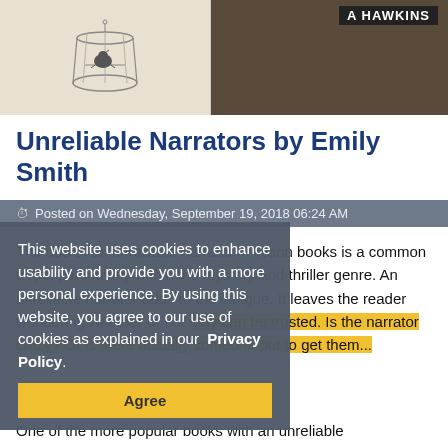[Figure (photo): Two book cover photos side by side: left shows a sketch of a bird in a cage on a light background, right shows a book spine with author name 'A HAWKINS' on dark background]
Unreliable Narrators by Emily Smith
Posted on Wednesday, September 19, 2018 06:24 AM
This website uses cookies to enhance usability and provide you with a more personal experience. By using this website, you agree to our use of cookies as explained in our Privacy Policy.
The use of an unreliable narrator in fiction books is a common trope, particularly within the mystery and thriller genre. An unreliable narrator adds to the intrigue. It leaves the reader wondering whether or not they can be trusted. Is the narrator crazy? Or is there actually someone out to get them...
One of the more popular books with an unreliable